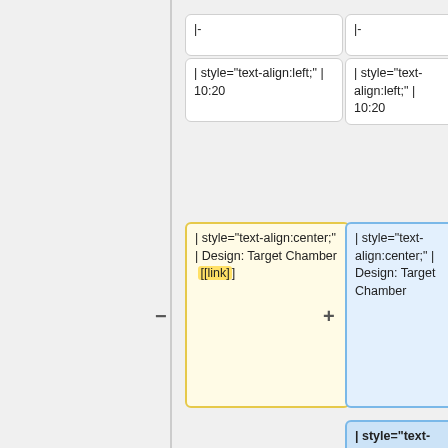[Figure (flowchart): Diff view showing wiki table markup changes. Left column shows original content; right column shows modified content. Cards contain wiki markup snippets. Highlighted cards (yellow on left, blue on right) indicate changes. A new card with a Google Drive URL appears on the right side marked with a plus sign.]